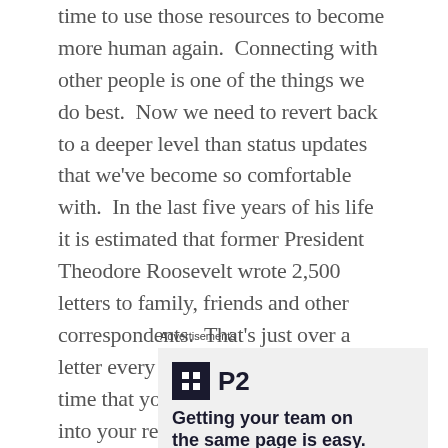time to use those resources to become more human again. Connecting with other people is one of the things we do best. Now we need to revert back to a deeper level than status updates that we've become so comfortable with. In the last five years of his life it is estimated that former President Theodore Roosevelt wrote 2,500 letters to family, friends and other correspondents. That's just over a letter every day. When was the last time that you put that kind of care into your relationships? It is the deliberate act of reaching out in order to connect rather than to just be in contact. Be willing to connect with others in order that you might take on some of their leather or lace.
Advertisements
[Figure (other): Advertisement banner for P2 product showing logo with grid icon and text 'Getting your team on the same page is easy.']